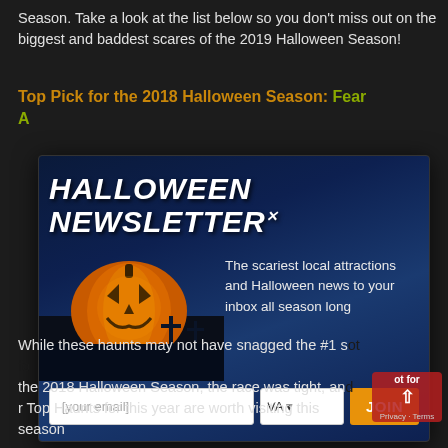Season. Take a look at the list below so you don't miss out on the biggest and baddest scares of the 2019 Halloween Season!
Top Pick for the 2018 Halloween Season: Fear A...
[Figure (screenshot): Halloween Newsletter modal popup with a jack-o-lantern pumpkin on a dark blue spooky background with a haunted house. Contains title 'HALLOWEEN NEWSLETTER' with an X close button, descriptive text 'The scariest local attractions and Halloween news to your inbox all season long', and an email subscription form with [your email] input, VA state dropdown, and JOIN button.]
While these haunts may not have snagged the #1 spot for the 2018 Halloween Season, the race was tight, and our Top Haunts for this year are worth visiting this season